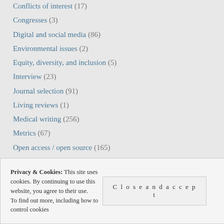Conflicts of interest (17)
Congresses (3)
Digital and social media (86)
Environmental issues (2)
Equity, diversity, and inclusion (5)
Interview (23)
Journal selection (91)
Living reviews (1)
Medical writing (256)
Metrics (67)
Open access / open source (165)
Patient centricity / lay summary (73)
Peer review (127)
Publication planning (196)
Privacy & Cookies: This site uses cookies. By continuing to use this website, you agree to their use. To find out more, including how to control cookies